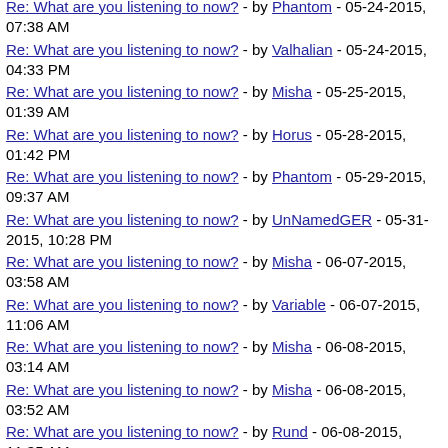Re: What are you listening to now? - by Phantom - 05-24-2015, 07:38 AM
Re: What are you listening to now? - by Valhalian - 05-24-2015, 04:33 PM
Re: What are you listening to now? - by Misha - 05-25-2015, 01:39 AM
Re: What are you listening to now? - by Horus - 05-28-2015, 01:42 PM
Re: What are you listening to now? - by Phantom - 05-29-2015, 09:37 AM
Re: What are you listening to now? - by UnNamedGER - 05-31-2015, 10:28 PM
Re: What are you listening to now? - by Misha - 06-07-2015, 03:58 AM
Re: What are you listening to now? - by Variable - 06-07-2015, 11:06 AM
Re: What are you listening to now? - by Misha - 06-08-2015, 03:14 AM
Re: What are you listening to now? - by Misha - 06-08-2015, 03:52 AM
Re: What are you listening to now? - by Rund - 06-08-2015, 11:35 AM
Re: What are you listening to now? - by Misha - 06-08-2015, 12:47 PM
Re: What are you listening to now? - by Rund - 06-08-2015, 06:28 PM